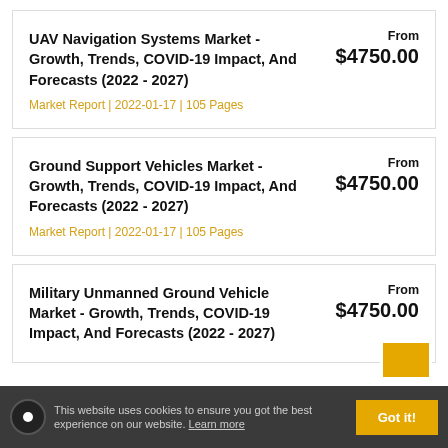UAV Navigation Systems Market - Growth, Trends, COVID-19 Impact, And Forecasts (2022 - 2027)
Market Report | 2022-01-17 | 105 Pages
From $4750.00
Ground Support Vehicles Market - Growth, Trends, COVID-19 Impact, And Forecasts (2022 - 2027)
Market Report | 2022-01-17 | 105 Pages
From $4750.00
Military Unmanned Ground Vehicle Market - Growth, Trends, COVID-19 Impact, And Forecasts (2022 - 2027)
From $4750.00
This website uses cookies to ensure you got the best experience on our website. Learn more
Got it!